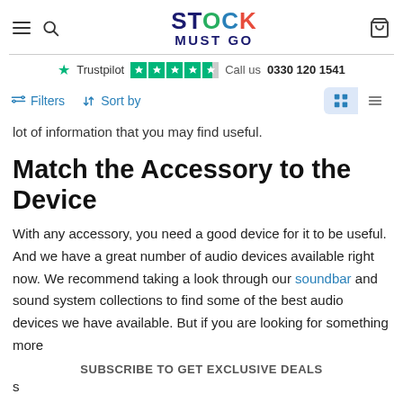Stock Must Go — navigation header with menu, search, logo, and cart
★ Trustpilot  Call us  0330 120 1541
Filters  Sort by  (grid/list view toggles)
lot of information that you may find useful.
Match the Accessory to the Device
With any accessory, you need a good device for it to be useful. And we have a great number of audio devices available right now. We recommend taking a look through our soundbar and sound system collections to find some of the best audio devices we have available. But if you are looking for something more
SUBSCRIBE TO GET EXCLUSIVE DEALS